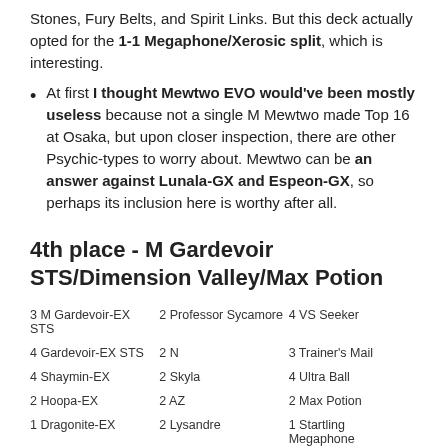Stones, Fury Belts, and Spirit Links. But this deck actually opted for the 1-1 Megaphone/Xerosic split, which is interesting.
At first I thought Mewtwo EVO would've been mostly useless because not a single M Mewtwo made Top 16 at Osaka, but upon closer inspection, there are other Psychic-types to worry about. Mewtwo can be an answer against Lunala-GX and Espeon-GX, so perhaps its inclusion here is worthy after all.
4th place - M Gardevoir STS/Dimension Valley/Max Potion
| 3 M Gardevoir-EX STS | 2 Professor Sycamore | 4 VS Seeker |
| 4 Gardevoir-EX STS | 2 N | 3 Trainer's Mail |
| 4 Shaymin-EX | 2 Skyla | 4 Ultra Ball |
| 2 Hoopa-EX | 2 AZ | 2 Max Potion |
| 1 Dragonite-EX | 2 Lysandre | 1 Startling Megaphone |